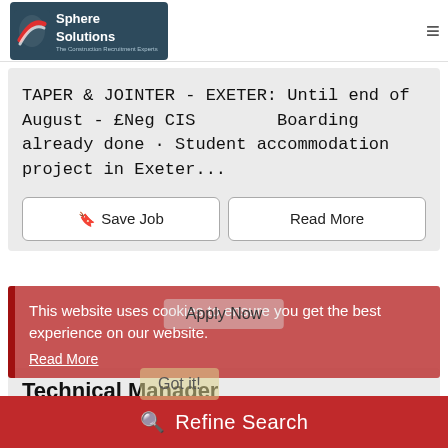[Figure (logo): Sphere Solutions - The Construction Recruitment Experts logo on dark teal background with red and white swoosh icon]
TAPER & JOINTER - EXETER: Until end of August - £Neg CIS · Boarding already done · Student accommodation project in Exeter...
Save Job
Read More
This website uses cookies to ensure you get the best experience on our website.
Read More
Apply Now
Technical Manager
Got it!
Refine Search